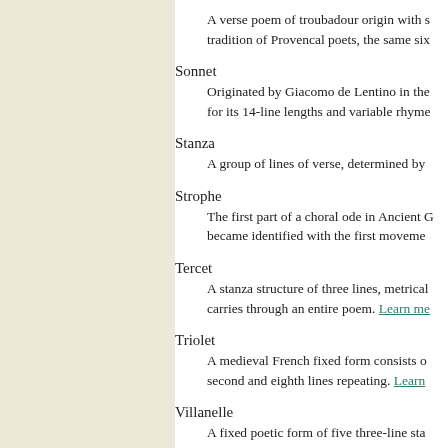A verse poem of troubadour origin with s... tradition of Provencal poets, the same six...
Sonnet
Originated by Giacomo de Lentino in the... for its 14-line lengths and variable rhyme...
Stanza
A group of lines of verse, determined by...
Strophe
The first part of a choral ode in Ancient G... became identified with the first moveme...
Tercet
A stanza structure of three lines, metrical... carries through an entire poem. Learn more
Triolet
A medieval French fixed form consists o... second and eighth lines repeating. Learn more
Villanelle
A fixed poetic form of five three-line sta... recurring in subsequent stanzas. Learn more